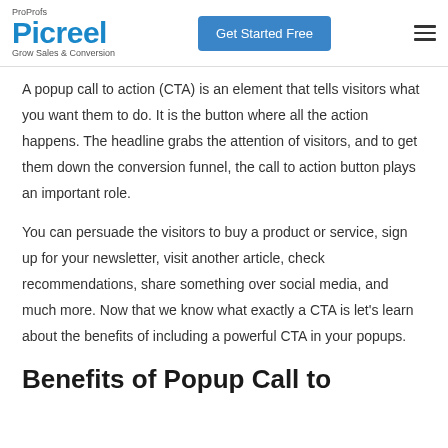ProProfs Picreel Grow Sales & Conversion | Get Started Free
A popup call to action (CTA) is an element that tells visitors what you want them to do. It is the button where all the action happens. The headline grabs the attention of visitors, and to get them down the conversion funnel, the call to action button plays an important role.
You can persuade the visitors to buy a product or service, sign up for your newsletter, visit another article, check recommendations, share something over social media, and much more. Now that we know what exactly a CTA is let's learn about the benefits of including a powerful CTA in your popups.
Benefits of Popup Call to